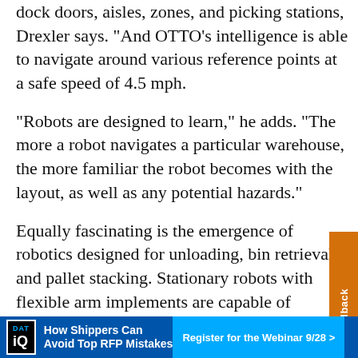dock doors, aisles, zones, and picking stations, Drexler says. “And OTTO’s intelligence is able to navigate around various reference points at a safe speed of 4.5 mph.
“Robots are designed to learn,” he adds. “The more a robot navigates a particular warehouse, the more familiar the robot becomes with the layout, as well as any potential hazards.”
Equally fascinating is the emergence of robotics designed for unloading, bin retrieval, and pallet stacking. Stationary robots with flexible arm implements are capable of performing a multitude of tasks, including unloading a trailerload of cartons, stacking pallets, and picking orders. These robotic functions are designed to take the place of warehouse tasks that laborers detest—jobs that fall under the 3
[Figure (other): Orange vertical sidebar tab on right edge reading 'FAQs & Feedback']
[Figure (other): Blue advertisement banner at bottom: DAT IQ logo, 'How Shippers Can Avoid Top RFP Mistakes', 'Register for the Webinar 9/28 >' button]